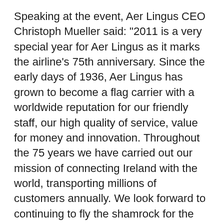Speaking at the event, Aer Lingus CEO Christoph Mueller said: "2011 is a very special year for Aer Lingus as it marks the airline's 75th anniversary. Since the early days of 1936, Aer Lingus has grown to become a flag carrier with a worldwide reputation for our friendly staff, our high quality of service, value for money and innovation. Throughout the 75 years we have carried out our mission of connecting Ireland with the world, transporting millions of customers annually. We look forward to continuing to fly the shamrock for the next 75 years."
On May 27th 1936 Aer Lingus launched its first ever flight between Baldonnel and Bristol, with five passengers, on a six-seater De Havilland 84 Dragon named Iolar – meaning 'eagle' in Irish. As part of the